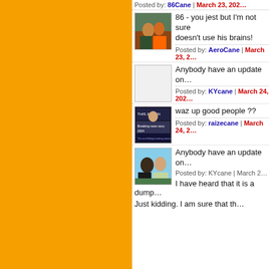Posted by: 86Cane | March 23, 202...
[Figure (photo): Avatar photo of two people]
86 - you jest but I'm not sure... doesn't use his brains!
Posted by: AeroCane | March 23, 2...
[Figure (photo): Blank/white avatar]
Anybody have an update on...
Posted by: KYcane | March 24, 202...
[Figure (photo): Avatar with text overlay news graphic]
waz up good people ??
Posted by: raizecane | March 24, 2...
[Figure (photo): Avatar of two people outdoors]
Anybody have an update on...
Posted by: KYcane | March 2...
I have heard that it is a dump...
Just kidding. I am sure that th...